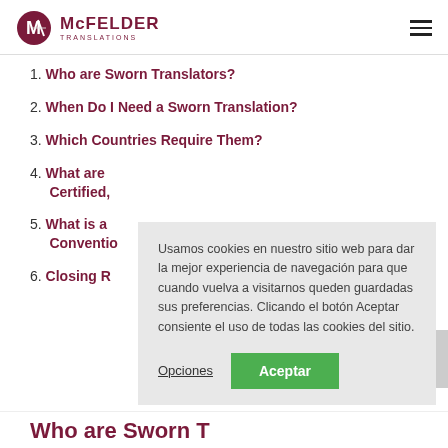McFELDER TRANSLATIONS
1. Who are Sworn Translators?
2. When Do I Need a Sworn Translation?
3. Which Countries Require Them?
4. What are Certified,
5. What is a Conventio
6. Closing R
Usamos cookies en nuestro sitio web para dar la mejor experiencia de navegación para que cuando vuelva a visitarnos queden guardadas sus preferencias. Clicando el botón Aceptar consiente el uso de todas las cookies del sitio.
Who are Sworn Translators?